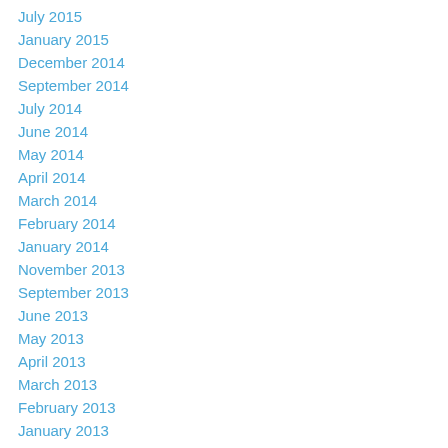July 2015
January 2015
December 2014
September 2014
July 2014
June 2014
May 2014
April 2014
March 2014
February 2014
January 2014
November 2013
September 2013
June 2013
May 2013
April 2013
March 2013
February 2013
January 2013
December 2012